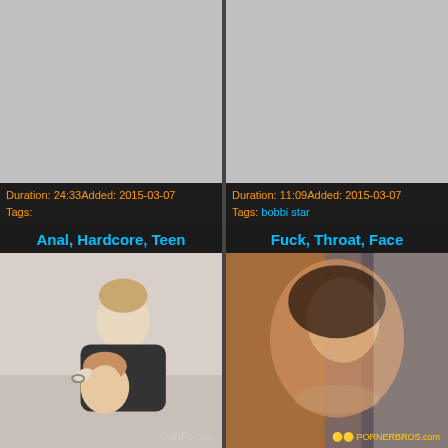[Figure (photo): Gray placeholder thumbnail top left]
Duration: 24:33Added: 2015-03-07
Tags:
[Figure (photo): Gray placeholder thumbnail top right]
Duration: 11:09Added: 2015-03-07
Tags: bobbi star
Anal, Hardcore, Teen
[Figure (photo): Video thumbnail showing two people, watermark DaGFs.com]
Fuck, Throat, Face
[Figure (photo): Video thumbnail showing woman, watermark PORNERBROS.com]